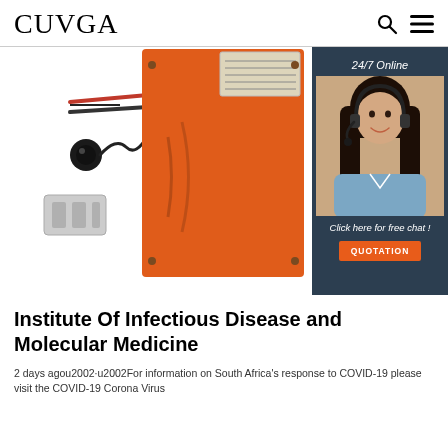CUVGA
[Figure (photo): Orange rectangular battery pack with wires and connector plug. Overlaid with a 24/7 online chat widget showing a woman with a headset, text 'Click here for free chat!' and an orange QUOTATION button.]
Institute Of Infectious Disease and Molecular Medicine
2 days agou2002·u2002For information on South Africa's response to COVID-19 please visit the COVID-19 Corona Virus